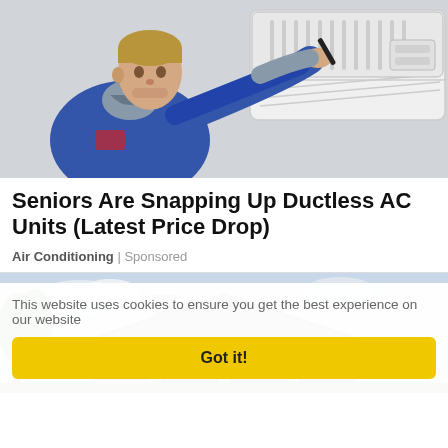[Figure (photo): HVAC technician in blue and grey uniform servicing a white ductless mini-split AC unit mounted on the wall]
Seniors Are Snapping Up Ductless AC Units (Latest Price Drop)
Air Conditioning | Sponsored
[Figure (photo): Modern single-story house with dark roof and large windows, surrounded by trees]
This website uses cookies to ensure you get the best experience on our website
Got it!